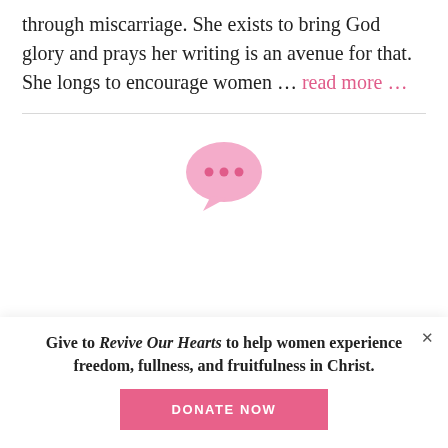through miscarriage. She exists to bring God glory and prays her writing is an avenue for that. She longs to encourage women … read more …
[Figure (illustration): Pink speech bubble / chat bubble icon with three dots inside, indicating a loading or comments indicator.]
Give to Revive Our Hearts to help women experience freedom, fullness, and fruitfulness in Christ.
DONATE NOW